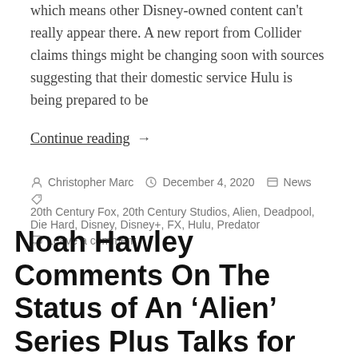which means other Disney-owned content can't really appear there. A new report from Collider claims things might be changing soon with sources suggesting that their domestic service Hulu is being prepared to be
Continue reading →
By Christopher Marc  December 4, 2020  News
20th Century Fox, 20th Century Studios, Alien, Deadpool, Die Hard, Disney, Disney+, FX, Hulu, Predator
Leave a comment
Noah Hawley Comments On The Status of An 'Alien' Series Plus Talks for